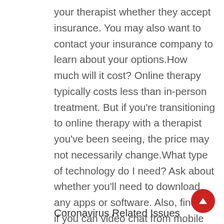your therapist whether they accept insurance. You may also want to contact your insurance company to learn about your options.How much will it cost? Online therapy typically costs less than in-person treatment. But if you're transitioning to online therapy with a therapist you've been seeing, the price may not necessarily change.What type of technology do I need? Ask about whether you'll need to download any apps or software. Also, find out if you can video chat from mobile devices or whether you'll need a computer.
Coronavirus Related Issues